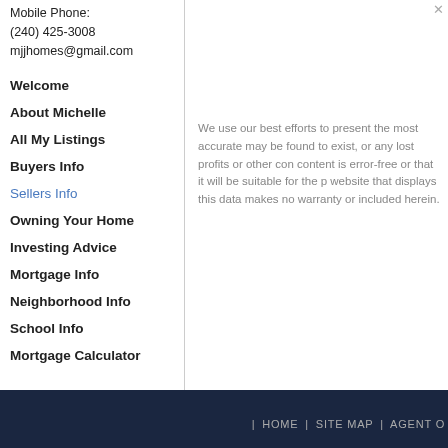Mobile Phone:
(240) 425-3008
mjjhomes@gmail.com
Welcome
About Michelle
All My Listings
Buyers Info
Sellers Info
Owning Your Home
Investing Advice
Mortgage Info
Neighborhood Info
School Info
Mortgage Calculator
We use our best efforts to present the most accurate may be found to exist, or any lost profits or other con content is error-free or that it will be suitable for the p website that displays this data makes no warranty or included herein.
HOME | SITE MAP | AGENT O